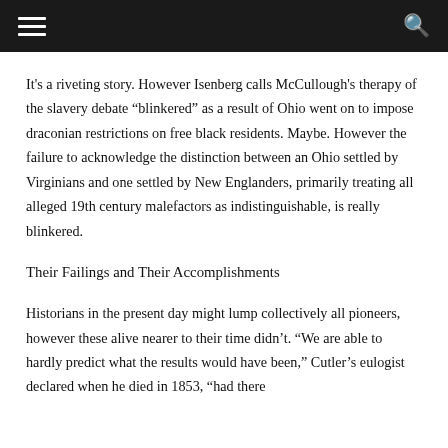[hamburger menu] [search icon]
It's a riveting story. However Isenberg calls McCullough's therapy of the slavery debate “blinkered” as a result of Ohio went on to impose draconian restrictions on free black residents. Maybe. However the failure to acknowledge the distinction between an Ohio settled by Virginians and one settled by New Englanders, primarily treating all alleged 19th century malefactors as indistinguishable, is really blinkered.
Their Failings and Their Accomplishments
Historians in the present day might lump collectively all pioneers, however these alive nearer to their time didn’t. “We are able to hardly predict what the results would have been,” Cutler’s eulogist declared when he died in 1853, “had there